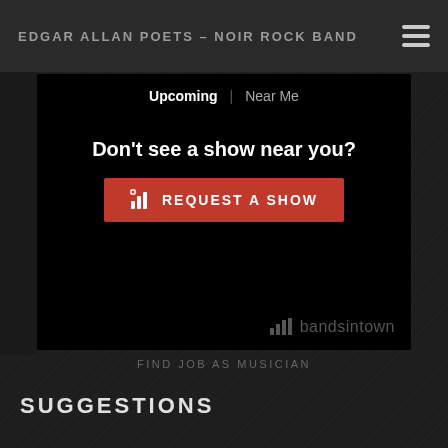EDGAR ALLAN POETS – NOIR ROCK BAND
[Figure (screenshot): Bandsintown widget showing Upcoming and Near Me tabs with 'Don't see a show near you?' message and a red 'REQUEST A SHOW' button, with the Bandsintown logo in the bottom right]
FIND JOB AS MUSICIAN
SUGGESTIONS